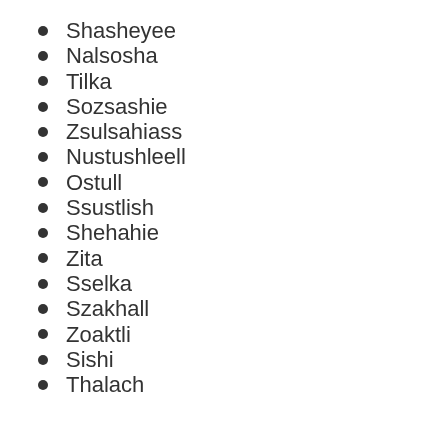Shasheyee
Nalsosha
Tilka
Sozsashie
Zsulsahiass
Nustushleell
Ostull
Ssustlish
Shehahie
Zita
Sselka
Szakhall
Zoaktli
Sishi
Thalach